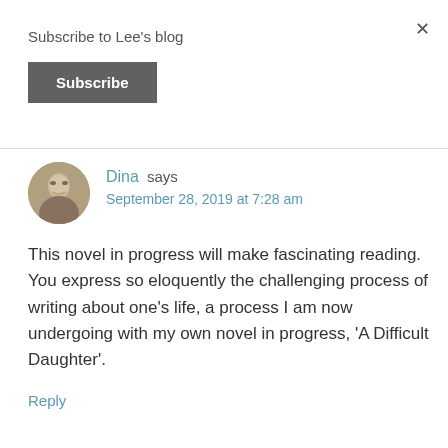Subscribe to Lee's blog
Subscribe
Dina says
September 28, 2019 at 7:28 am
This novel in progress will make fascinating reading. You express so eloquently the challenging process of writing about one's life, a process I am now undergoing with my own novel in progress, 'A Difficult Daughter'.
Reply